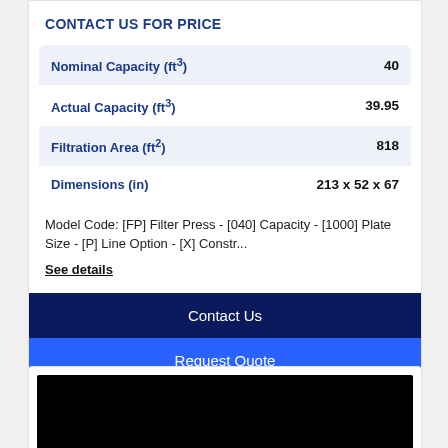CONTACT US FOR PRICE
| Specification | Value |
| --- | --- |
| Nominal Capacity (ft³) | 40 |
| Actual Capacity (ft³) | 39.95 |
| Filtration Area (ft²) | 818 |
| Dimensions (in) | 213 x 52 x 67 |
Model Code: [FP] Filter Press - [040] Capacity - [1000] Plate Size - [P] Line Option - [X] Constr...
See details
Contact Us
Request Quote
[Figure (photo): Black rectangular image block at the bottom of the page]